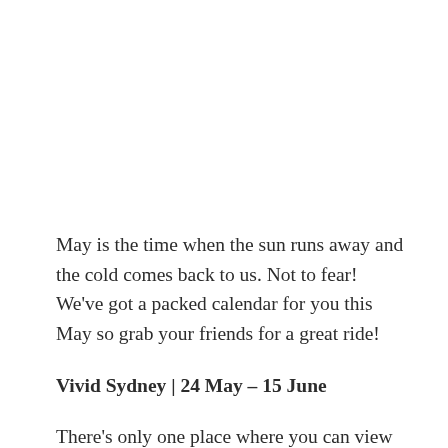May is the time when the sun runs away and the cold comes back to us. Not to fear! We've got a packed calendar for you this May so grab your friends for a great ride!
Vivid Sydney | 24 May – 15 June
There's only one place where you can view this light extravaganza, and its right here in